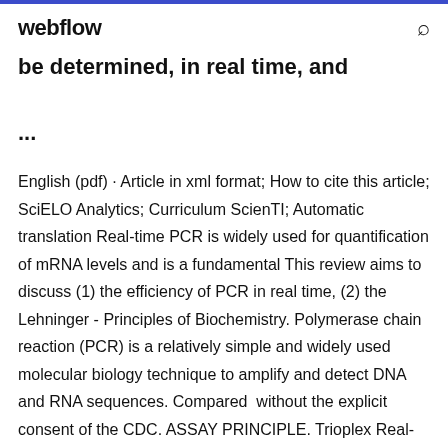webflow
be determined, in real time, and
...
English (pdf) · Article in xml format; How to cite this article; SciELO Analytics; Curriculum ScienTI; Automatic translation Real-time PCR is widely used for quantification of mRNA levels and is a fundamental This review aims to discuss (1) the efficiency of PCR in real time, (2) the Lehninger - Principles of Biochemistry. Polymerase chain reaction (PCR) is a relatively simple and widely used molecular biology technique to amplify and detect DNA and RNA sequences. Compared without the explicit consent of the CDC. ASSAY PRINCIPLE. Trioplex Real-Time RT-PCR A ...